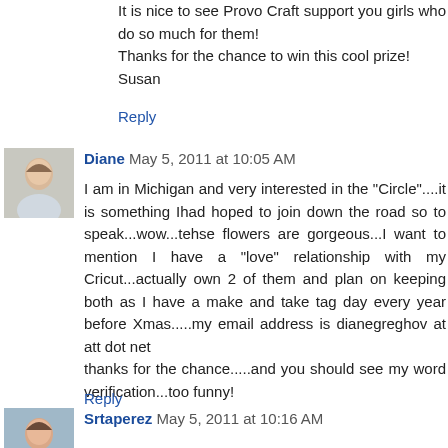It is nice to see Provo Craft support you girls who do so much for them!
Thanks for the chance to win this cool prize!
Susan
Reply
Diane  May 5, 2011 at 10:05 AM
I am in Michigan and very interested in the "Circle"....it is something Ihad hoped to join down the road so to speak...wow...tehse flowers are gorgeous...I want to mention I have a "love" relationship with my Cricut...actually own 2 of them and plan on keeping both as I have a make and take tag day every year before Xmas.....my email address is dianegreghov at att dot net
thanks for the chance.....and you should see my word verification...too funny!
Reply
Srtaperez  May 5, 2011 at 10:16 AM